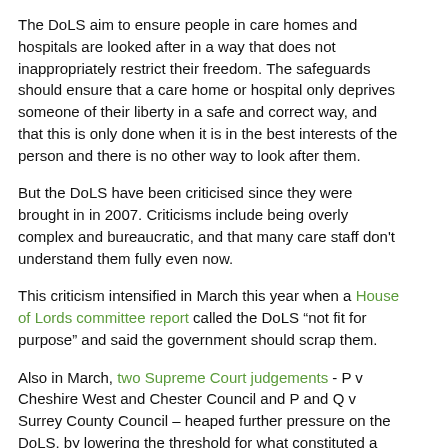The DoLS aim to ensure people in care homes and hospitals are looked after in a way that does not inappropriately restrict their freedom. The safeguards should ensure that a care home or hospital only deprives someone of their liberty in a safe and correct way, and that this is only done when it is in the best interests of the person and there is no other way to look after them.
But the DoLS have been criticised since they were brought in in 2007. Criticisms include being overly complex and bureaucratic, and that many care staff don't understand them fully even now.
This criticism intensified in March this year when a House of Lords committee report called the DoLS “not fit for purpose” and said the government should scrap them.
Also in March, two Supreme Court judgements - P v Cheshire West and Chester Council and P and Q v Surrey County Council – heaped further pressure on the DoLS, by lowering the threshold for what constituted a deprivation of liberty in care.
Since then, the number of deprivation of liberty cases has risen, with councils expecting them to rise 10-fold this year. The Department of Health has accepted that there are difficulties with DoLS and the Law Commission's project is one of number of measures announced designed to improve the way the safeguards work.